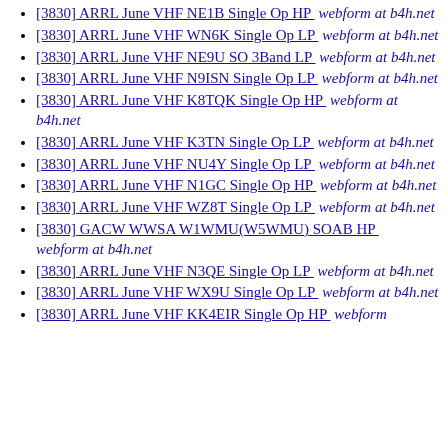[3830] ARRL June VHF NE1B Single Op HP  webform at b4h.net
[3830] ARRL June VHF WN6K Single Op LP  webform at b4h.net
[3830] ARRL June VHF NE9U SO 3Band LP  webform at b4h.net
[3830] ARRL June VHF N9ISN Single Op LP  webform at b4h.net
[3830] ARRL June VHF K8TQK Single Op HP  webform at b4h.net
[3830] ARRL June VHF K3TN Single Op LP  webform at b4h.net
[3830] ARRL June VHF NU4Y Single Op LP  webform at b4h.net
[3830] ARRL June VHF N1GC Single Op HP  webform at b4h.net
[3830] ARRL June VHF WZ8T Single Op LP  webform at b4h.net
[3830] GACW WWSA W1WMU(W5WMU) SOAB HP  webform at b4h.net
[3830] ARRL June VHF N3QE Single Op LP  webform at b4h.net
[3830] ARRL June VHF WX9U Single Op LP  webform at b4h.net
[3830] ARRL June VHF KK4EIR Single Op HP  webform